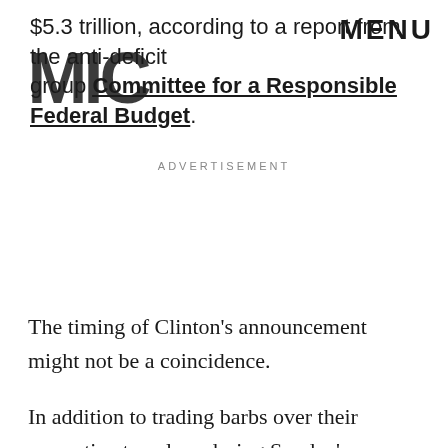$5.3 trillion, according to a report from the anti-deficit group Committee for a Responsible Federal Budget. MENU
ADVERTISEMENT
The timing of Clinton's announcement might not be a coincidence.
In addition to trading barbs over their respective tax plans during Sunday's presidential debate, a new cache of documents from the group Wikileaks surfaced on Friday that some critics say